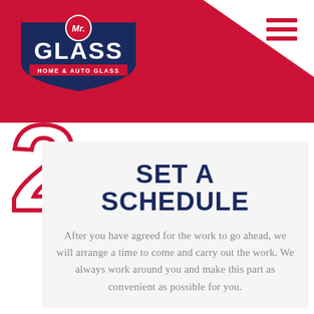[Figure (logo): Mr. Glass Home & Auto Glass logo on red background header]
[Figure (other): Hamburger menu icon (three horizontal red lines) in top right]
[Figure (other): Large outlined red number 2 step indicator on left side]
SET A SCHEDULE
After you have agreed for the work to go ahead, we will arrange a time to come and carry out the work. We always work around you and make this part as convenient as possible for you.